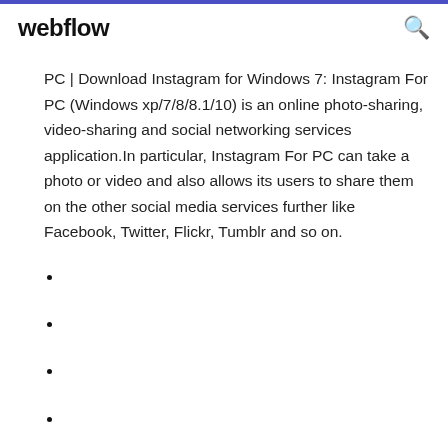webflow
PC | Download Instagram for Windows 7: Instagram For PC (Windows xp/7/8/8.1/10) is an online photo-sharing, video-sharing and social networking services application.In particular, Instagram For PC can take a photo or video and also allows its users to share them on the other social media services further like Facebook, Twitter, Flickr, Tumblr and so on.